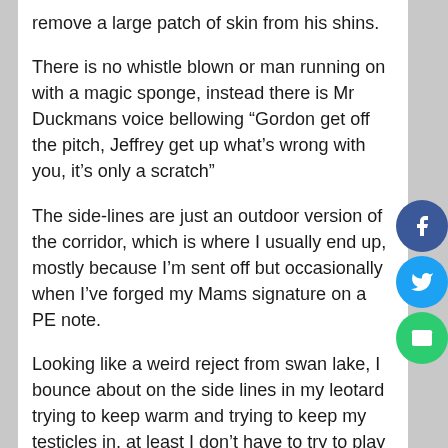remove a large patch of skin from his shins.
There is no whistle blown or man running on with a magic sponge, instead there is Mr Duckmans voice bellowing “Gordon get off the pitch, Jeffrey get up what's wrong with you, it's only a scratch”
The side-lines are just an outdoor version of the corridor, which is where I usually end up, mostly because I'm sent off but occasionally when I've forged my Mams signature on a PE note.
Looking like a weird reject from swan lake, I bounce about on the side lines in my leotard trying to keep warm and trying to keep my testicles in, at least I don't have to try to play a game I'm really bad at and I can watch the girls in the distance playing hockey, that looks more like my game, running around with weapons, chasing a little ball and